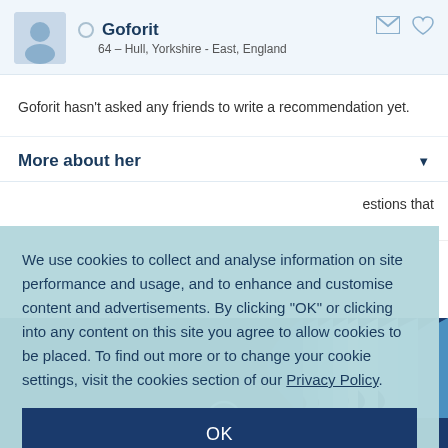Goforit
64 – Hull, Yorkshire - East, England
Goforit hasn't asked any friends to write a recommendation yet.
More about her
We use cookies to collect and analyse information on site performance and usage, and to enhance and customise content and advertisements. By clicking "OK" or clicking into any content on this site you agree to allow cookies to be placed. To find out more or to change your cookie settings, visit the cookies section of our Privacy Policy.
OK